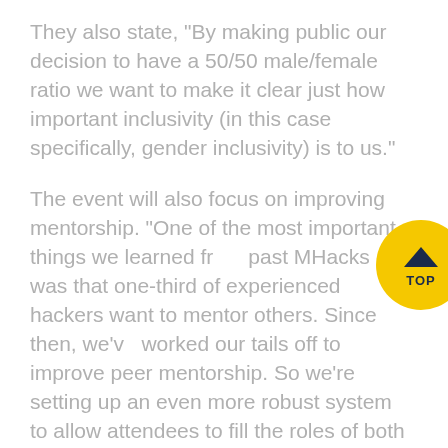They also state, “By making public our decision to have a 50/50 male/female ratio we want to make it clear just how important inclusivity (in this case specifically, gender inclusivity) is to us.”
The event will also focus on improving mentorship. “One of the most important things we learned from past MHacks was that one-third of experienced hackers want to mentor others. Since then, we’ve worked our tails off to improve peer mentorship. So we’re setting up an even more robust system to allow attendees to fill the roles of both hacker and mentor.”
To provide the best experience for each hacker they are limiting the number of attendees to 700 to make sure that each hacker gets to know their peers and
[Figure (other): Yellow circular TOP button with a dark navy chevron/caret pointing up and the text TOP below it]